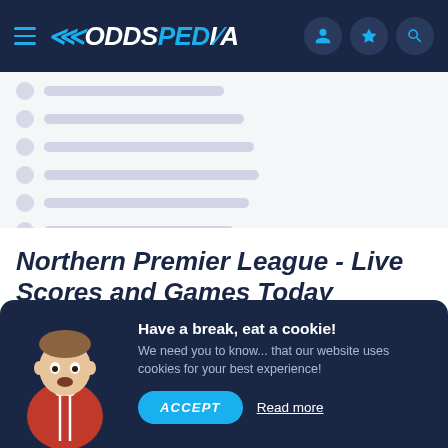ODDSPEDIA navigation bar with hamburger menu, logo, user icon, star icon, search icon
Loading row 1
Loading row 2
Loading row 3
Loading row 4
Loading row 5
Loading row 6
Northern Premier League - Live Scores and Games Today
Follow Soccer updates from New Zealand for the Northern Premier League, including live scores, results and more. You can find the latest
[Figure (other): Cookie consent overlay with a soccer player character image, title 'Have a break, eat a cookie!', description text, ACCEPT button, and Read more link]